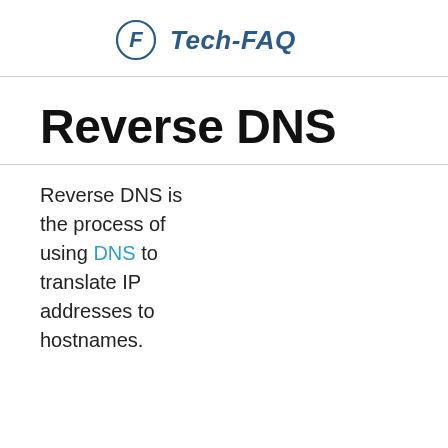Tech-FAQ
Reverse DNS
Reverse DNS is the process of using DNS to translate IP addresses to hostnames.